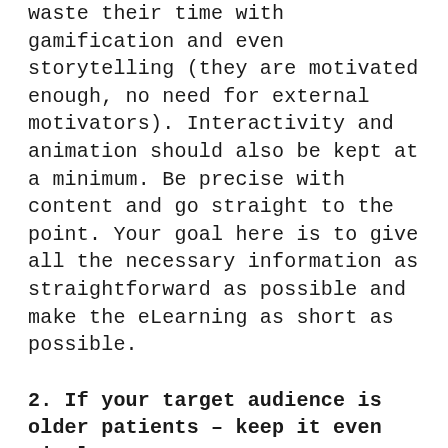waste their time with gamification and even storytelling (they are motivated enough, no need for external motivators). Interactivity and animation should also be kept at a minimum. Be precise with content and go straight to the point. Your goal here is to give all the necessary information as straightforward as possible and make the eLearning as short as possible.
2. If your target audience is older patients – keep it even simpler!
We had several courses aimed at older patients where we needed to instruct them